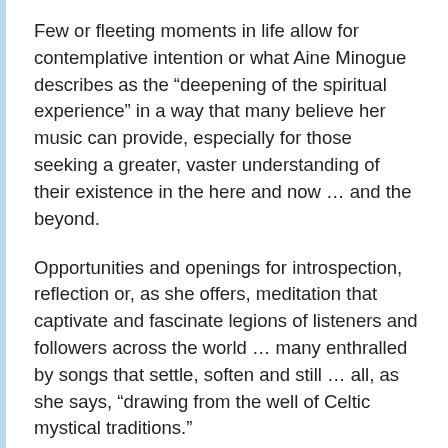Few or fleeting moments in life allow for contemplative intention or what Aine Minogue describes as the “deepening of the spiritual experience” in a way that many believe her music can provide, especially for those seeking a greater, vaster understanding of their existence in the here and now … and the beyond.
Opportunities and openings for introspection, reflection or, as she offers, meditation that captivate and fascinate legions of listeners and followers across the world … many enthralled by songs that settle, soften and still … all, as she says, "drawing from the well of Celtic mystical traditions."
Compositions that revered Irish poet, author and philosopher John O’Donohue once described as “Music that invites us to listen with the soul” and who believed music to be “… the one art form that changes our experience of time. We enter the deeper dimension of time where the eternal is hidden. Time is never still; it brings us to new frontiers in every moment.”